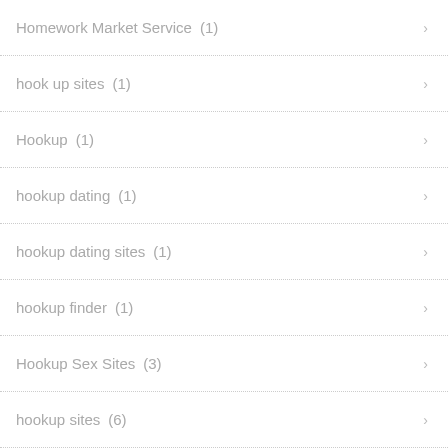Homework Market Service (1)
hook up sites (1)
Hookup (1)
hookup dating (1)
hookup dating sites (1)
hookup finder (1)
Hookup Sex Sites (3)
hookup sites (6)
hookup websites (1)
hookupguide.org Hookup Guide (1)
hookuponline.org (1)
Hot Asian Girls (1)